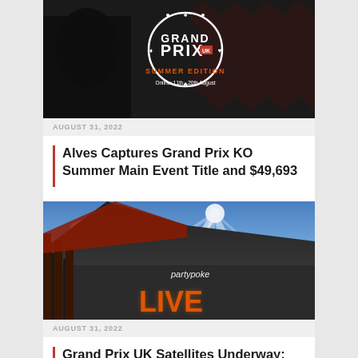[Figure (photo): Grand Prix Summer Edition promotional image with circular logo on dark background, orange text reading SUMMER EDITION, Online 11th-20th August]
AUGUST 31, 2022
Alves Captures Grand Prix KO Summer Main Event Title and $49,693
[Figure (photo): Partypoker LIVE neon sign on building exterior with blue sky and sun rays in background]
AUGUST 31, 2022
Grand Prix UK Satellites Underway; Extra Rewards Up For Grabs